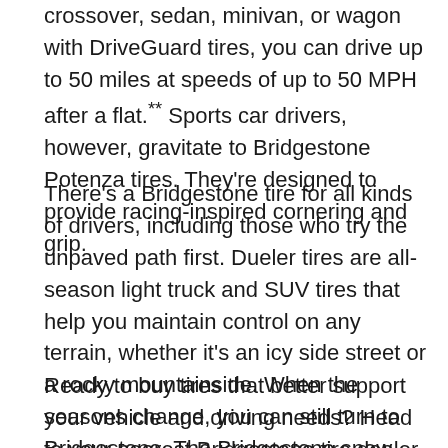crossover, sedan, minivan, or wagon with DriveGuard tires, you can drive up to 50 miles at speeds of up to 50 MPH after a flat.** Sports car drivers, however, gravitate to Bridgestone Potenza tires. They're designed to provide racing-inspired cornering and grip.
There's a Bridgestone tire for all kinds of drivers, including those who try the unpaved path first. Dueler tires are all-season light truck and SUV tires that help you maintain control on any terrain, whether it's an icy side street or a rocky mountainside. When the seasons change, you can still turn to Bridgestone. The Bridgestone snow tire, Blizzak, gives you increased confidence in cold-weather driving with a rubber compound and tread pattern that bite into ice and snow.
Ready to buy tires that better support your vehicle and driving needs? Head to your nearest Bridgestone tire dealer, Howell Motors and shop the Bridgestone catalog of car and truck tires for sale in Lockport. You haven't